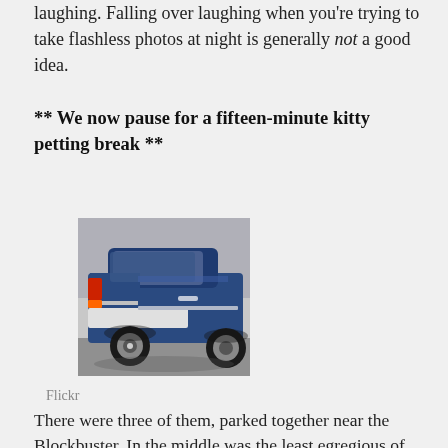laughing. Falling over laughing when you're trying to take flashless photos at night is generally not a good idea.
** We now pause for a fifteen-minute kitty petting break **
[Figure (photo): A blue car photographed from the rear/side angle, showing the trunk, rear wheel, and part of the body]
Flickr
There were three of them, parked together near the Blockbuster. In the middle was the least egregious of the lot, Mr. Blue, whose hood was inexplicably white. There's really very little to say about it, except to point out that for some reason the vents on the hood reminded me of nostrils. That, and the clashing Rice Rice Baby Yellow made my eyes bleed.